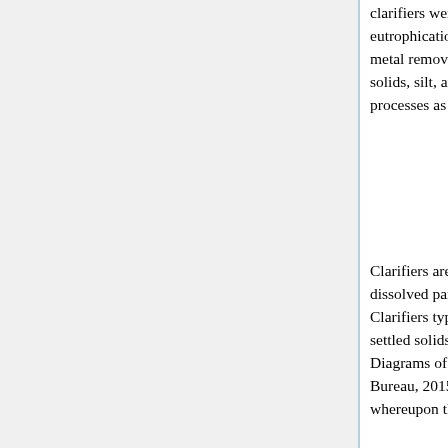clarifiers were originally developed to limit nutrient input into surface water due to fear of eutrophication. Today, they have a number of uses, particularly in wastewater treatment processes, metal removal, disinfection, and membrane pretreatment. The process helps removed dissolved solids, silt, and undesirable metals from the water, making it more suitable for downstream processes as well as human consumption (Wilson, 2005).
Clarifiers are typically used in conjunction with coagulation or flocculation agents, which promote dissolved particles to join into clumps and settle out of solution (Towler and Sinnot, 2012). Clarifiers typically consist of a large circular tank with a rotating rake at the base which scrapes settled solids towards the center. In the case of a rectangular clarifier, they are scraped to one side. Diagrams of both are represented in figures 9 and 10, respectively (NMED Surface Water Quality Bureau, 2015). Separated solids are allowed to settle to the bottom of the tank as a sludge, whereupon they are collected by